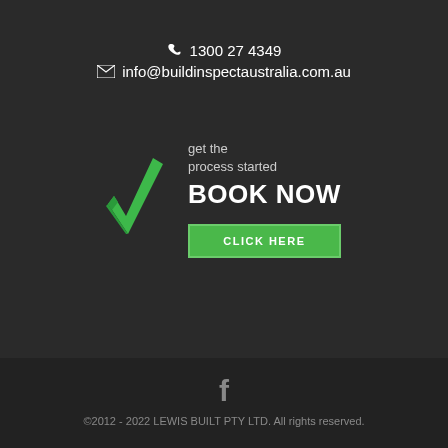1300 27 4349
info@buildinspectaustralia.com.au
[Figure (logo): Green checkmark/tick logo for Build Inspect Australia with text 'get the process started BOOK NOW' and a green 'CLICK HERE' button]
©2012 - 2022 LEWIS BUILT PTY LTD. All rights reserved.